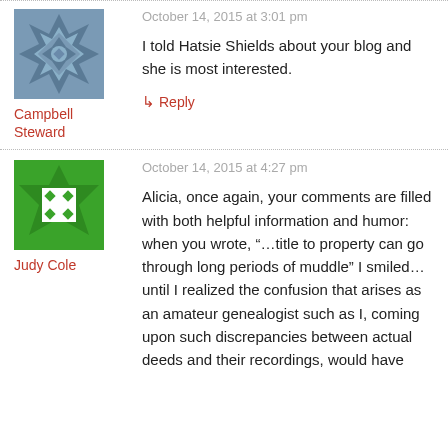[Figure (photo): Avatar image for Campbell Steward - grey geometric/tribal pattern]
Campbell Steward
October 14, 2015 at 3:01 pm
I told Hatsie Shields about your blog and she is most interested.
↳ Reply
[Figure (photo): Avatar image for Judy Cole - green geometric icon with white diamond shapes]
Judy Cole
October 14, 2015 at 4:27 pm
Alicia, once again, your comments are filled with both helpful information and humor: when you wrote, “…title to property can go through long periods of muddle” I smiled…until I realized the confusion that arises as an amateur genealogist such as I, coming upon such discrepancies between actual deeds and their recordings, would have